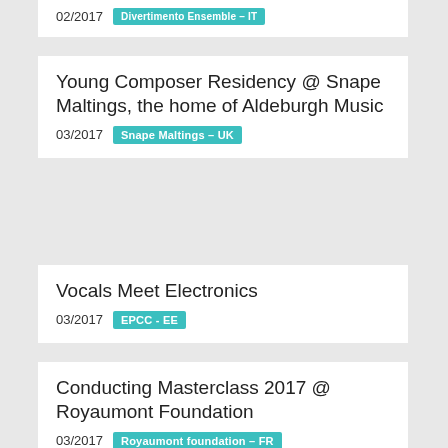02/2017  Divertimento Ensemble – IT
Young Composer Residency @ Snape Maltings, the home of Aldeburgh Music
03/2017  Snape Maltings – UK
Vocals Meet Electronics
03/2017  EPCC - EE
Conducting Masterclass 2017 @ Royaumont Foundation
03/2017  Royaumont foundation – FR
ULYSSES Audience Research Blog #2 – EPCC/Estonian Music Days, Tallinn (EE)
04/2017  EPCC - EE